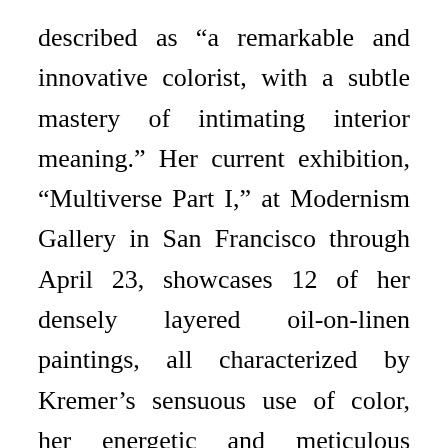described as “a remarkable and innovative colorist, with a subtle mastery of intimating interior meaning.” Her current exhibition, “Multiverse Part I,” at Modernism Gallery in San Francisco through April 23, showcases 12 of her densely layered oil-on-linen paintings, all characterized by Kremer’s sensuous use of color, her energetic and meticulous brushwork, and a complex, detailed sense of structure. Yet her work in black and white is integral to her craft, and equally compelling. ZYZZYVA sat down with the